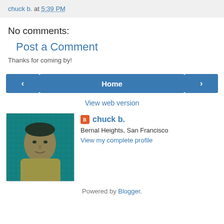chuck b. at 5:39 PM
No comments:
Post a Comment
Thanks for coming by!
< Home >
View web version
[Figure (photo): Profile photo of chuck b. showing a man's face against a teal pixel/mosaic background]
chuck b.
Bernal Heights, San Francisco
View my complete profile
Powered by Blogger.